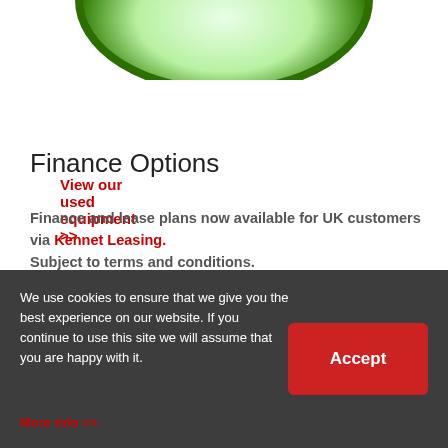[Figure (illustration): Partial green circular logo or badge, cropped at the top of the page, showing green gradient oval shape]
View our used equipment >>
Finance Options
Finance and lease plans now available for UK customers via Kennet Leasing.
Subject to terms and conditions.
Contact us for more info.
We use cookies to ensure that we give you the best experience on our website. If you continue to use this site we will assume that you are happy with it.
More info >>